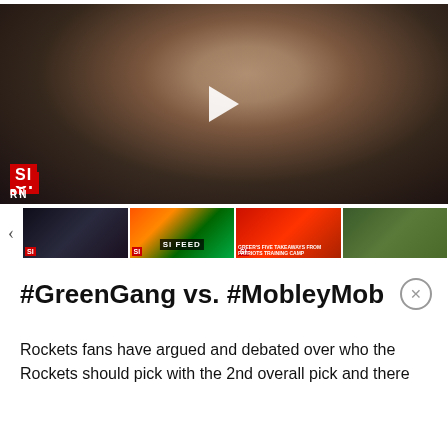[Figure (screenshot): Video thumbnail showing an older man in a dark suit with a purple/lavender tie, against a dark background. Sports Illustrated 'SI RN' logo in bottom left. White play button triangle in center.]
[Figure (screenshot): Row of four video thumbnails below main video. First shows same man in dark suit. Second shows NFL players in colorful uniforms with 'SI FEED' label. Third shows a sports graphic with text overlay. Fourth shows two men at a stadium. Left arrow navigation visible.]
#GreenGang vs. #MobleyMob
Rockets fans have argued and debated over who the Rockets should pick with the 2nd overall pick and there